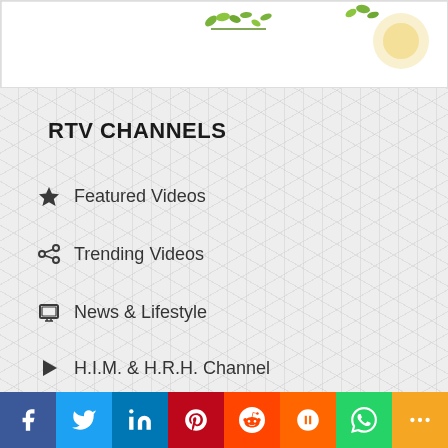[Figure (photo): Top banner with decorative leaves and a food/drink item on white background]
RTV CHANNELS
Featured Videos
Trending Videos
News & Lifestyle
H.I.M. & H.R.H. Channel
Social share bar: Facebook, Twitter, LinkedIn, Pinterest, Reddit, Mix, WhatsApp, More